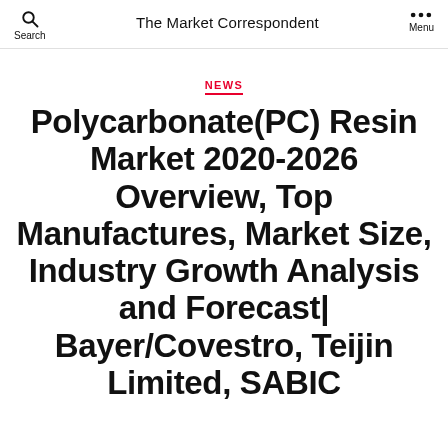Search | The Market Correspondent | Menu
NEWS
Polycarbonate(PC) Resin Market 2020-2026 Overview, Top Manufactures, Market Size, Industry Growth Analysis and Forecast| Bayer/Covestro, Teijin Limited, SABIC